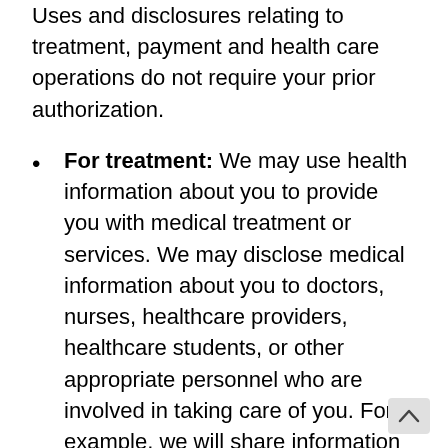Uses and disclosures relating to treatment, payment and health care operations do not require your prior authorization.
For treatment: We may use health information about you to provide you with medical treatment or services. We may disclose medical information about you to doctors, nurses, healthcare providers, healthcare students, or other appropriate personnel who are involved in taking care of you. For example, we will share information about you with the pharmacy so that they may provide your medications.
For payment: We may use and disclose health information about you so that the treatment and services you receive may be appropriately billed and that payment may be collected from you, an insurance company, or another third party. For